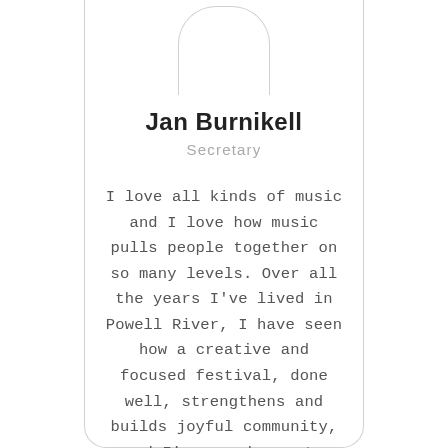[Figure (illustration): Top portion of a profile card showing a rounded rectangle avatar placeholder outline at the top center, with card border lines on left and right sides.]
Jan Burnikell
Secretary
I love all kinds of music and I love how music pulls people together on so many levels. Over all the years I've lived in Powell River, I have seen how a creative and focused festival, done well, strengthens and builds joyful community, and I'm very happy to contribute time and energy to this